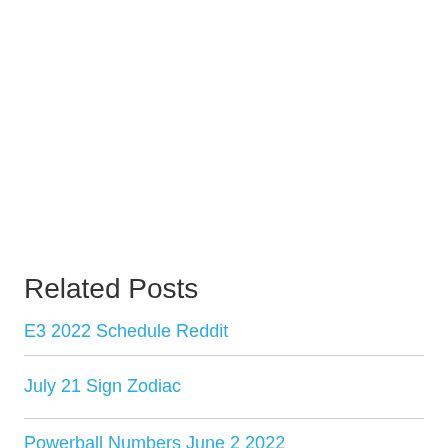Related Posts
E3 2022 Schedule Reddit
July 21 Sign Zodiac
Powerball Numbers June 2 2022